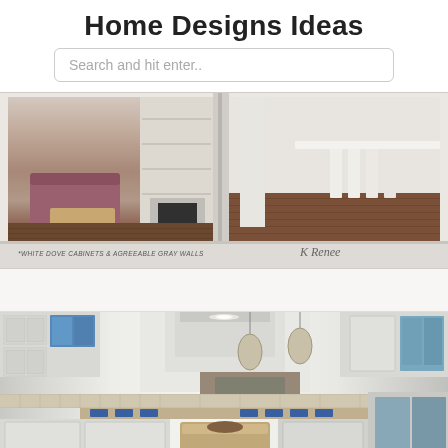Home Designs Ideas
Search and hit enter..
[Figure (photo): Open book spread showing two interior home photos: left page shows a living room with burgundy/mauve sofa and chairs, wood coffee table, built-in white shelving and fireplace, dark hardwood floors; right page shows a dining or hallway area with white columns, white bar stools, dark hardwood floors. Caption reads '*WHITE DOVE CABINETS & AGREEABLE GRAY WALLS' with a handwritten signature 'K Renee']
[Figure (photo): Interior kitchen photo showing white cabinetry with glass-front uppers, decorative tile backsplash, large white range hood, pendant lights hanging over a kitchen island with wood countertop, blue accent tiles, and windows with blue sky visible]